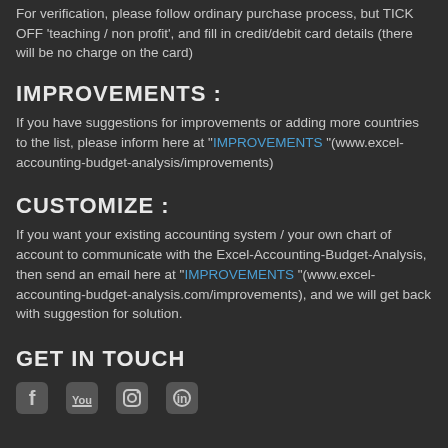For verification, please follow ordinary purchase process, but TICK OFF 'teaching / non profit', and fill in credit/debit card details (there will be no charge on the card)
IMPROVEMENTS :
If you have suggestions for improvements or adding more countries to the list, please inform here at "IMPROVEMENTS" (www.excel-accounting-budget-analysis/improvements)
CUSTOMIZE :
If you want your existing accounting system / your own chart of account to communicate with the Excel-Accounting-Budget-Analysis, then send an email here at "IMPROVEMENTS" (www.excel-accounting-budget-analysis.com/improvements), and we will get back with suggestion for solution.
GET IN TOUCH
[Figure (illustration): Social media icons row: Facebook, YouTube, Instagram, and another icon]